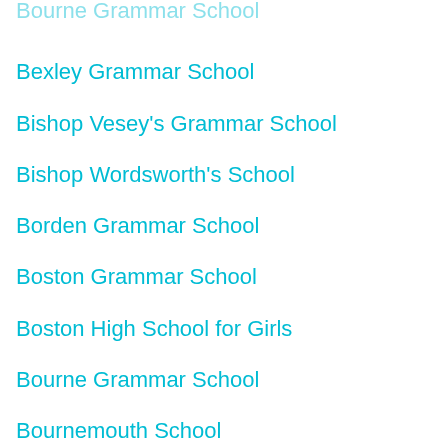Bexley Grammar School
Bishop Vesey's Grammar School
Bishop Wordsworth's School
Borden Grammar School
Boston Grammar School
Boston High School for Girls
Bourne Grammar School
Bournemouth School
Bournemouth School for Girls